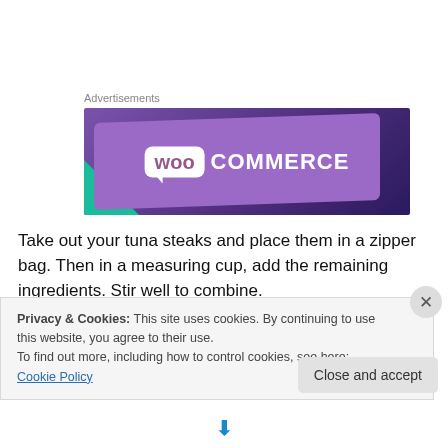Advertisements
[Figure (logo): WooCommerce advertisement banner with purple gradient background, green corner accent, and WooCommerce logo in white text]
Take out your tuna steaks and place them in a zipper bag. Then in a measuring cup, add the remaining ingredients. Stir well to combine.
Privacy & Cookies: This site uses cookies. By continuing to use this website, you agree to their use.
To find out more, including how to control cookies, see here: Cookie Policy
Close and accept